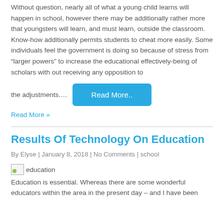Without question, nearly all of what a young child learns will happen in school, however there may be additionally rather more that youngsters will learn, and must learn, outside the classroom. Know-how additionally permits students to cheat more easily. Some individuals feel the government is doing so because of stress from “larger powers” to increase the educational effectively-being of scholars with out receiving any opposition to
the adjustments....
Read More..
Read More »
Results Of Technology On Education
By Elyse | January 8, 2018 | No Comments | school
[Figure (illustration): Broken image placeholder with label 'education']
Education is essential. Whereas there are some wonderful educators within the area in the present day – and I have been